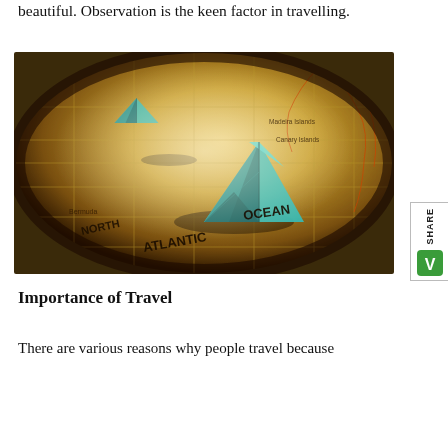beautiful. Observation is the keen factor in travelling.
[Figure (photo): A photograph of a globe showing the North Atlantic Ocean, with two origami paper boats (teal/green) placed on it. The globe map shows labels including NORTH, ATLANTIC, OCEAN, Bermuda, Madeira Islands, Canary Islands. A Share button with a green V logo is visible on the right edge.]
Importance of Travel
There are various reasons why people travel because